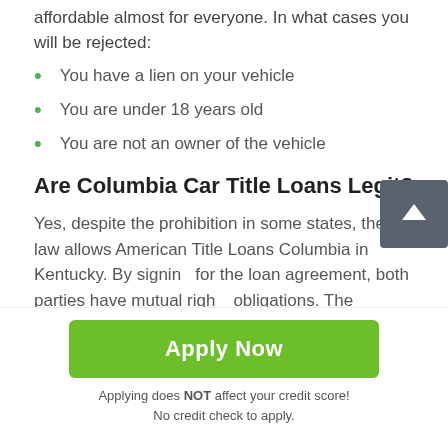affordable almost for everyone. In what cases you will be rejected:
You have a lien on your vehicle
You are under 18 years old
You are not an owner of the vehicle
Are Columbia Car Title Loans Legit?
Yes, despite the prohibition in some states, the law allows American Title Loans Columbia in Kentucky. By signing for the loan agreement, both parties have mutual rights obligations. The creditor can not force the borrower to sell
Apply Now
Applying does NOT affect your credit score!
No credit check to apply.